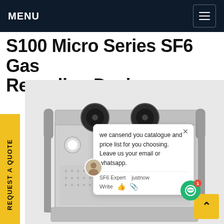MENU
S100 Micro Series SF6 Gas Recycling Device
[Figure (photo): Photo of the S100 Micro Series SF6 Gas Recycling Device — a compact white/grey industrial unit on a wheeled trolley frame, with two large cooling fans on top, control panel with blue display, gauges, and ventilated side panels.]
REQUEST A QUOTE
we cansend you catalogue and price list for you choosing. Leave us your email or whatsapp.
SF6 Expert    justnow
Write